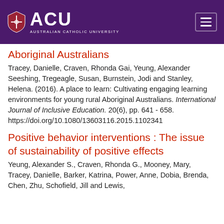ACU — Australian Catholic University
Aboriginal Australians
Tracey, Danielle, Craven, Rhonda Gai, Yeung, Alexander Seeshing, Tregeagle, Susan, Burnstein, Jodi and Stanley, Helena. (2016). A place to learn: Cultivating engaging learning environments for young rural Aboriginal Australians. International Journal of Inclusive Education. 20(6), pp. 641 - 658. https://doi.org/10.1080/13603116.2015.1102341
Positive behavior interventions : The issue of sustainability of positive effects
Yeung, Alexander S., Craven, Rhonda G., Mooney, Mary, Tracey, Danielle, Barker, Katrina, Power, Anne, Dobia, Brenda, Chen, Zhu, Schofield, Jill and Lewis,